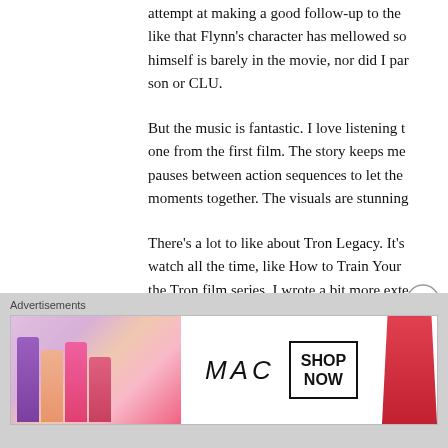attempt at making a good follow-up to the... like that Flynn's character has mellowed so... himself is barely in the movie, nor did I par... son or CLU.
But the music is fantastic. I love listening to... one from the first film. The story keeps me... pauses between action sequences to let the... moments together. The visuals are stunning...
There’s a lot to like about Tron Legacy. It’s... watch all the time, like How to Train Your... the Tron film series. I wrote a bit more exte... entitled Tron Legacy vs. The Dark Crystal h... interesting, as well.
[Figure (other): Close/dismiss button (X in circle)]
Advertisements
[Figure (other): MAC Cosmetics advertisement banner showing lipsticks and SHOP NOW box]